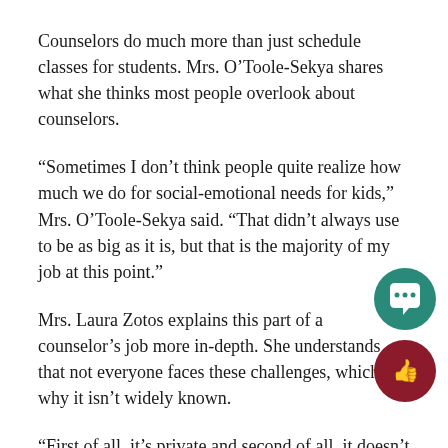Counselors do much more than just schedule classes for students. Mrs. O’Toole-Sekya shares what she thinks most people overlook about counselors.
“Sometimes I don’t think people quite realize how much we do for social-emotional needs for kids,” Mrs. O’Toole-Sekya said. “That didn’t always use to be as big as it is, but that is the majority of my job at this point.”
Mrs. Laura Zotos explains this part of a counselor’s job more in-depth. She understands that not everyone faces these challenges, which is why it isn’t widely known.
“First of all, it’s private and second of all, it doesn’t affect the entire population,” Mrs. Zotos said. “A lot of times it’s confidential and private so sometimes we don’t involve administration.”
As the end of the school year approaches, the counselors